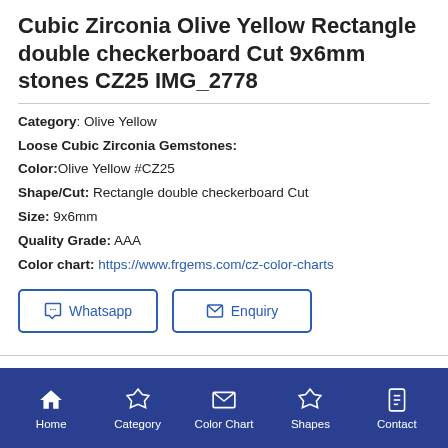Cubic Zirconia Olive Yellow Rectangle double checkerboard Cut 9x6mm stones CZ25 IMG_2778
Category: Olive Yellow
Loose Cubic Zirconia Gemstones:
Color: Olive Yellow #CZ25
Shape/Cut: Rectangle double checkerboard Cut
Size: 9x6mm
Quality Grade: AAA
Color chart: https://www.frgems.com/cz-color-charts
[Figure (other): Whatsapp and Enquiry buttons with icons]
Home | Category | Color Chart | Shapes | Contact